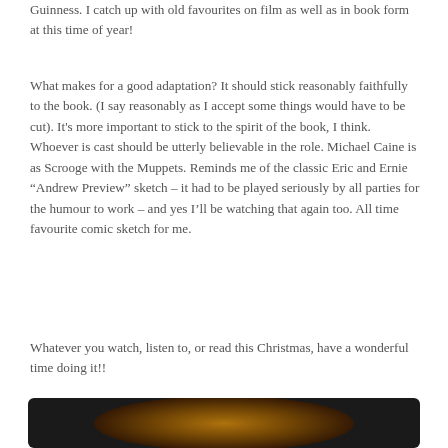Guinness. I catch up with old favourites on film as well as in book form at this time of year!
What makes for a good adaptation? It should stick reasonably faithfully to the book. (I say reasonably as I accept some things would have to be cut). It's more important to stick to the spirit of the book, I think. Whoever is cast should be utterly believable in the role. Michael Caine is as Scrooge with the Muppets. Reminds me of the classic Eric and Ernie “Andrew Preview” sketch – it had to be played seriously by all parties for the humour to work – and yes I'll be watching that again too. All time favourite comic sketch for me.
Whatever you watch, listen to, or read this Christmas, have a wonderful time doing it!!
[Figure (photo): A dark image with a warm golden/orange glow at the center, possibly a fire or candlelight scene against a black background.]